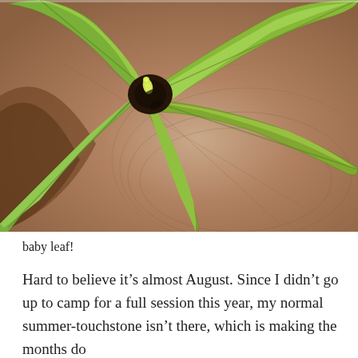[Figure (photo): Close-up macro photograph of a succulent or agave-type plant showing green leaves radiating outward from a central rosette, with a small new baby leaf emerging from the center. The background shows dry, textured brown/tan organic matter (dead leaf or bark). The image has shallow depth of field.]
baby leaf!
Hard to believe it’s almost August. Since I didn’t go up to camp for a full session this year, my normal summer-touchstone isn’t there, which is making the months do